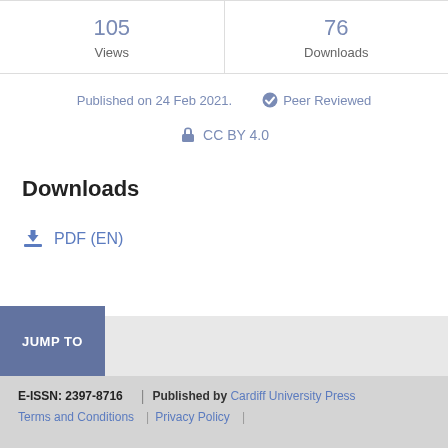| Views | Downloads |
| --- | --- |
| 105 | 76 |
Published on 24 Feb 2021.   ✔ Peer Reviewed
🔓 CC BY 4.0
Downloads
⬇ PDF (EN)
JUMP TO
E-ISSN: 2397-8716 | Published by Cardiff University Press | Terms and Conditions | Privacy Policy